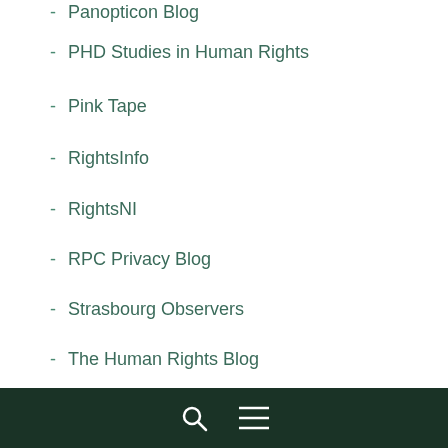Panopticon Blog
PHD Studies in Human Rights
Pink Tape
RightsInfo
RightsNI
RPC Privacy Blog
Strasbourg Observers
The Human Rights Blog
The Justice Gap
The Magistrate's Blog
The Pupillage Blog
The Small Places
The Time Blawg
UK Constitutional Law Group blog
UK Criminal Law Blog
UK Freedom of Information Blog
search menu